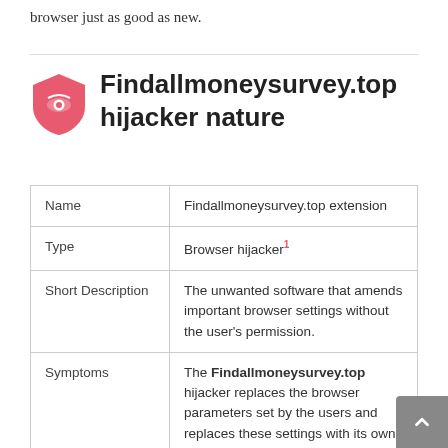browser just as good as new.
Findallmoneysurvey.top hijacker nature
| Name | Type | Short Description | Symptoms | Distribution Method |
| --- | --- | --- | --- | --- |
| Name | Findallmoneysurvey.top extension |
| Type | Browser hijacker¹ |
| Short Description | The unwanted software that amends important browser settings without the user’s permission. |
| Symptoms | The Findallmoneysurvey.top hijacker replaces the browser parameters set by the users and replaces these settings with its own values. |
| Distribution Method | Bundling with Freeware or Shareware, misleading pop-up ads produced by |